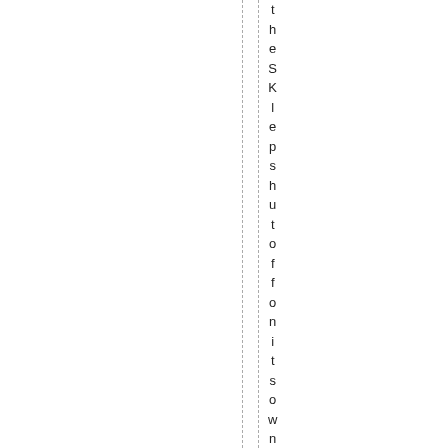theSklepshutoffonitsowneventua